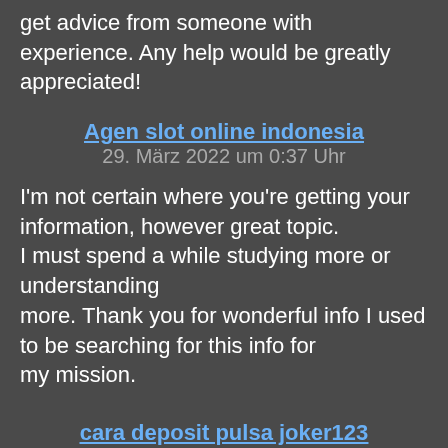get advice from someone with experience. Any help would be greatly appreciated!
Agen slot online indonesia
29. März 2022 um 0:37 Uhr
I'm not certain where you're getting your information, however great topic. I must spend a while studying more or understanding more. Thank you for wonderful info I used to be searching for this info for my mission.
cara deposit pulsa joker123
29. März 2022 um 0:43 Uhr